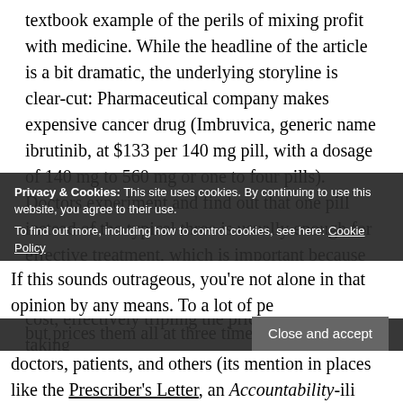textbook example of the perils of mixing profit with medicine. While the headline of the article is a bit dramatic, the underlying storyline is clear-cut: Pharmaceutical company makes expensive cancer drug (Imbruvica, generic name ibrutinib, at $133 per 140 mg pill, with a dosage of 140 mg to 560 mg or one to four pills). Doctors experiment and find out that one pill instead of the typical three is usually enough for effective treatment, which is important because of the side effects. Pharmaceutical company changes manufacturing to four different dosages but prices them all at three times what the old pill cost, effectively tripling the price for those taking one pill.
Privacy & Cookies: This site uses cookies. By continuing to use this website, you agree to their use. To find out more, including how to control cookies, see here: Cookie Policy
If this sounds outrageous, you're not alone in that opinion by any means. To a lot of people — doctors, patients, and others (its mention in places like the Prescriber's Letter, an accountability-minded newsletter...